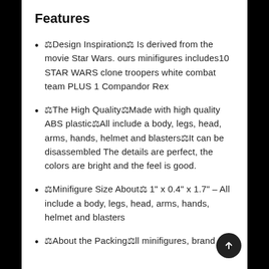Features
❖Design Inspiration❖ Is derived from the movie Star Wars. ours minifigures includes10 STAR WARS clone troopers white combat team PLUS 1 Compandor Rex
❖The High Quality❖Made with high quality ABS plastic❖All include a body, legs, head, arms, hands, helmet and blasters❖It can be disassembled The details are perfect, the colors are bright and the feel is good.
❖Minifigure Size About❖ 1" x 0.4" x 1.7" - All include a body, legs, head, arms, hands, helmet and blasters
❖About the Packing❖ll minifigures, brand